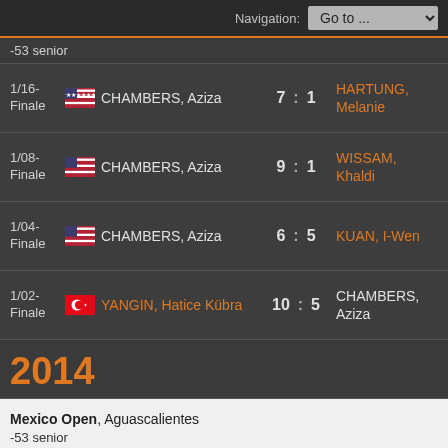Navigation: Go to ...
-53 senior
| Round | Flag | Player | Score | Opponent |
| --- | --- | --- | --- | --- |
| 1/16-Finale | USA | CHAMBERS, Aziza | 7 : 1 | HARTUNG, Melanie |
| 1/08-Finale | USA | CHAMBERS, Aziza | 9 : 1 | WISSAM, Khaldi |
| 1/04-Finale | USA | CHAMBERS, Aziza | 6 : 5 | KUAN, I-Wen |
| 1/02-Finale | TUR | YANGIN, Hatice Kübra | 10 : 5 | CHAMBERS, Aziza |
2014
Mexico Open, Aguascalientes -53 senior